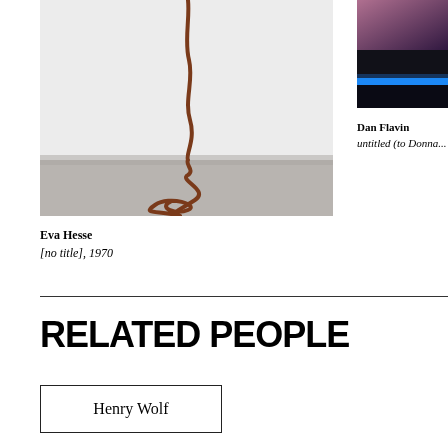[Figure (photo): Artwork photo showing a rope or cord hanging from the wall and coiling on the floor in a gallery space. Eva Hesse, [no title], 1970.]
[Figure (photo): Artwork photo showing neon light sculpture with blue and pink fluorescent lights against a dark background. Dan Flavin, untitled (to Donna...).]
Eva Hesse
[no title], 1970
Dan Flavin
untitled (to Donna...
RELATED PEOPLE
Henry Wolf